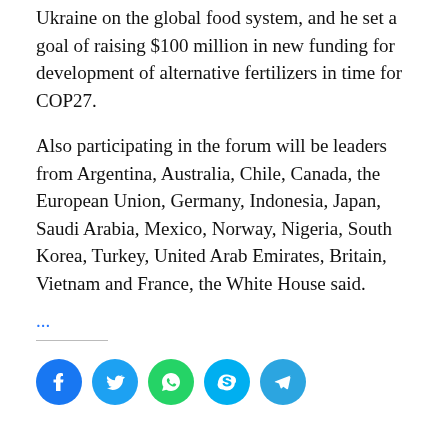Ukraine on the global food system, and he set a goal of raising $100 million in new funding for development of alternative fertilizers in time for COP27.
Also participating in the forum will be leaders from Argentina, Australia, Chile, Canada, the European Union, Germany, Indonesia, Japan, Saudi Arabia, Mexico, Norway, Nigeria, South Korea, Turkey, United Arab Emirates, Britain, Vietnam and France, the White House said.
...
[Figure (other): Social media share icons: Facebook (blue), Twitter (blue), WhatsApp (green), Skype (light blue), Telegram (blue)]